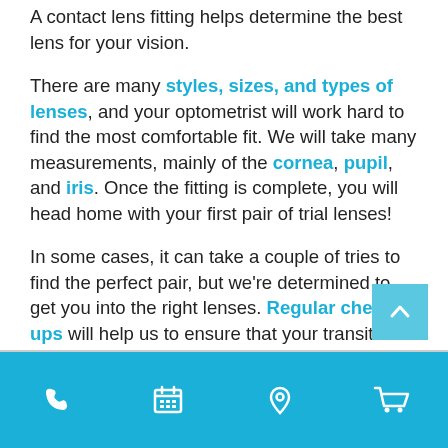A contact lens fitting helps determine the best lens for your vision.
There are many styles, sizes, and types of lenses, and your optometrist will work hard to find the most comfortable fit. We will take many measurements, mainly of the cornea, pupil, and iris. Once the fitting is complete, you will head home with your first pair of trial lenses!
In some cases, it can take a couple of tries to find the perfect pair, but we're determined to get you into the right lenses. Regular check-ups will help us to ensure that your transition into contact lenses goes smoothly.
Footer navigation bar with phone, calendar, location, and cart icons